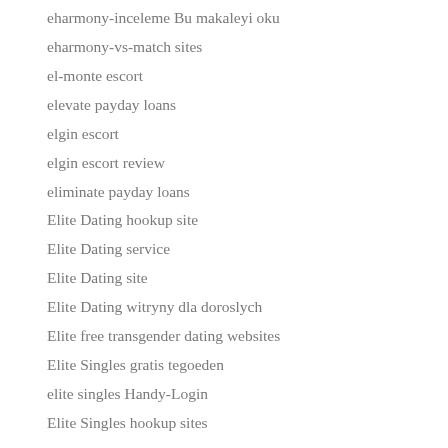eharmony-inceleme Bu makaleyi oku
eharmony-vs-match sites
el-monte escort
elevate payday loans
elgin escort
elgin escort review
eliminate payday loans
Elite Dating hookup site
Elite Dating service
Elite Dating site
Elite Dating witryny dla doroslych
Elite free transgender dating websites
Elite Singles gratis tegoeden
elite singles Handy-Login
Elite Singles hookup sites